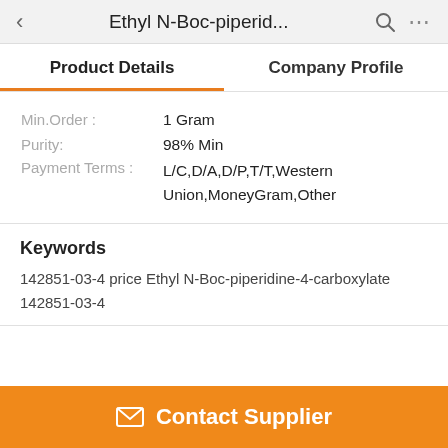< Ethyl N-Boc-piperid...
Product Details | Company Profile
| Field | Value |
| --- | --- |
| Min.Order : | 1 Gram |
| Purity: | 98% Min |
| Payment Terms : | L/C,D/A,D/P,T/T,Western Union,MoneyGram,Other |
Keywords
142851-03-4 price Ethyl N-Boc-piperidine-4-carboxylate 142851-03-4
Contact Supplier